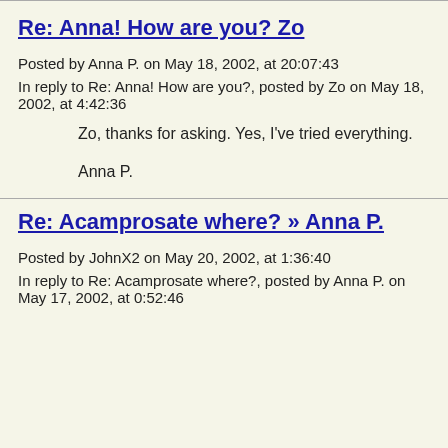Re: Anna! How are you? Zo
Posted by Anna P. on May 18, 2002, at 20:07:43
In reply to Re: Anna! How are you?, posted by Zo on May 18, 2002, at 4:42:36
Zo, thanks for asking. Yes, I've tried everything.

Anna P.
Re: Acamprosate where? » Anna P.
Posted by JohnX2 on May 20, 2002, at 1:36:40
In reply to Re: Acamprosate where?, posted by Anna P. on May 17, 2002, at 0:52:46